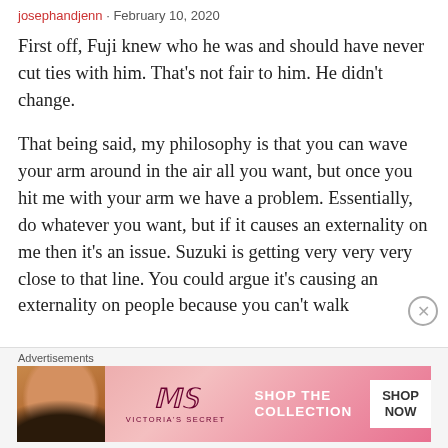josephandjenn · February 10, 2020
First off, Fuji knew who he was and should have never cut ties with him. That's not fair to him. He didn't change.
That being said, my philosophy is that you can wave your arm around in the air all you want, but once you hit me with your arm we have a problem. Essentially, do whatever you want, but if it causes an externality on me then it's an issue. Suzuki is getting very very very close to that line. You could argue it's causing an externality on people because you can't walk
[Figure (photo): Victoria's Secret advertisement banner with a woman's face on the left, VS logo in center, 'SHOP THE COLLECTION' text and 'SHOP NOW' button on the right, pink gradient background]
Advertisements